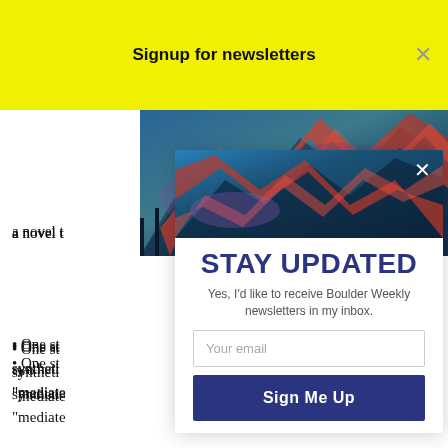Signup for newsletters
a novel t…”
• One st… two synthetic… “mediate…
• An oral… anticancer… n” when treated… showed no such…
• In addition… cancer effects. A synthetic CBD compound called 940-CBD was effective in combating the proliferative effects and invasive…
[Figure (photo): Colorful abstract landscape photo with red, blue and teal tones showing mountainous terrain, used as modal header image]
STAY UPDATED
Yes, I'd like to receive Boulder Weekly newsletters in my inbox.